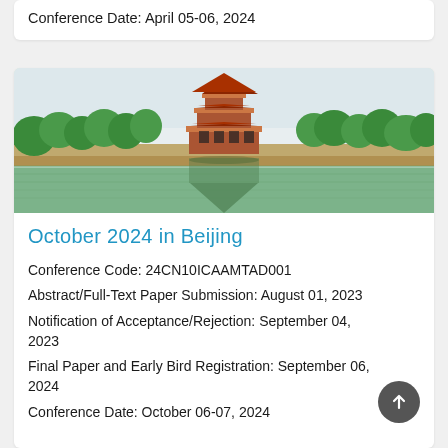Conference Date: April 05-06, 2024
[Figure (photo): Panoramic photo of the Forbidden City corner tower in Beijing reflected in the surrounding moat, with green trees lining the walls.]
October 2024 in Beijing
Conference Code: 24CN10ICAAMTAD001
Abstract/Full-Text Paper Submission: August 01, 2023
Notification of Acceptance/Rejection: September 04, 2023
Final Paper and Early Bird Registration: September 06, 2024
Conference Date: October 06-07, 2024